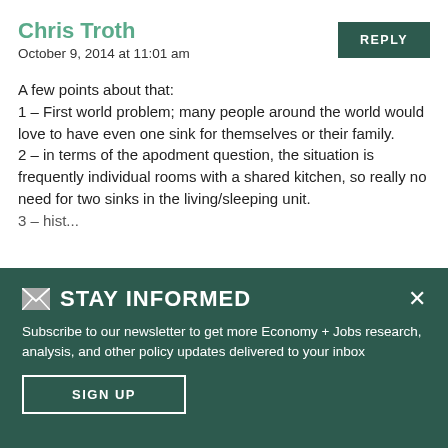Chris Troth
October 9, 2014 at 11:01 am
A few points about that:
1 – First world problem; many people around the world would love to have even one sink for themselves or their family.
2 – in terms of the apodment question, the situation is frequently individual rooms with a shared kitchen, so really no need for two sinks in the living/sleeping unit.
3 – ...
✉ STAY INFORMED
Subscribe to our newsletter to get more Economy + Jobs research, analysis, and other policy updates delivered to your inbox
SIGN UP